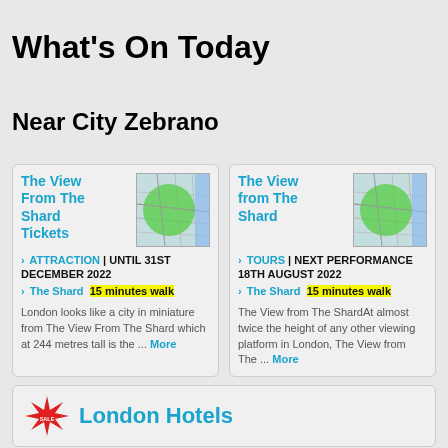What's On Today
Near City Zebrano
The View From The Shard Tickets | ATTRACTION | UNTIL 31ST DECEMBER 2022 | The Shard 15 minutes walk. London looks like a city in miniature from The View From The Shard which at 244 metres tall is the ... More
[Figure (map): Map thumbnail showing London area with green circle overlay]
The View from The Shard | TOURS | NEXT PERFORMANCE 18TH AUGUST 2022 | The Shard 15 minutes walk. The View from The ShardAt almost twice the height of any other viewing platform in London, The View from The ... More
[Figure (map): Map thumbnail showing London area with green circle overlay]
London Hotels